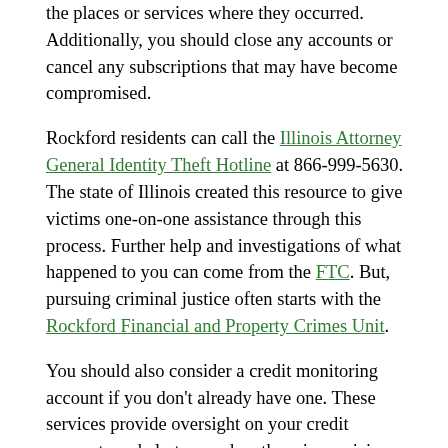the places or services where they occurred. Additionally, you should close any accounts or cancel any subscriptions that may have become compromised.
Rockford residents can call the Illinois Attorney General Identity Theft Hotline at 866-999-5630. The state of Illinois created this resource to give victims one-on-one assistance through this process. Further help and investigations of what happened to you can come from the FTC. But, pursuing criminal justice often starts with the Rockford Financial and Property Crimes Unit.
You should also consider a credit monitoring account if you don't already have one. These services provide oversight on your credit accounts and alert you when there is suspicious activity. You can either temporarily freeze the account or close it out entirely. A qualified Rockford attorney can also help you right some of the wrongs you may encounter along the way.